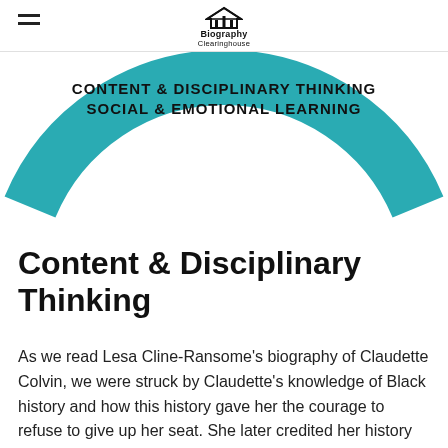Biography Clearinghouse
[Figure (illustration): Teal/turquoise semicircle arc shape with text 'CONTENT & DISCIPLINARY THINKING' and 'SOCIAL & EMOTIONAL LEARNING' on white background, part of a branded graphic element]
Content & Disciplinary Thinking
As we read Lesa Cline-Ransome's biography of Claudette Colvin, we were struck by Claudette's knowledge of Black history and how this history gave her the courage to refuse to give up her seat. She later credited her history teacher, Ms. Geraldine Nesbitt, for spending the month of